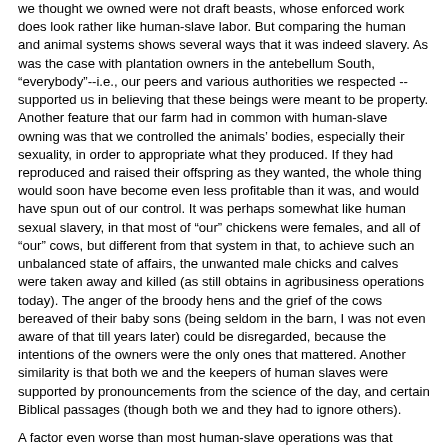we thought we owned were not draft beasts, whose enforced work does look rather like human-slave labor. But comparing the human and animal systems shows several ways that it was indeed slavery. As was the case with plantation owners in the antebellum South, "everybody"--i.e., our peers and various authorities we respected --supported us in believing that these beings were meant to be property. Another feature that our farm had in common with human-slave owning was that we controlled the animals' bodies, especially their sexuality, in order to appropriate what they produced. If they had reproduced and raised their offspring as they wanted, the whole thing would soon have become even less profitable than it was, and would have spun out of our control. It was perhaps somewhat like human sexual slavery, in that most of "our" chickens were females, and all of "our" cows, but different from that system in that, to achieve such an unbalanced state of affairs, the unwanted male chicks and calves were taken away and killed (as still obtains in agribusiness operations today). The anger of the broody hens and the grief of the cows bereaved of their baby sons (being seldom in the barn, I was not even aware of that till years later) could be disregarded, because the intentions of the owners were the only ones that mattered. Another similarity is that both we and the keepers of human slaves were supported by pronouncements from the science of the day, and certain Biblical passages (though both we and they had to ignore others).
A factor even worse than most human-slave operations was that almost none of "our" animals died natural deaths: we killed and ate some, and sold the rest whose profitability had diminished, to be killed and eaten by other humans. What else were they there for?
Green Growing Things
But there were other things about our farm that were genuinely good, which must not be ignored: a beautiful setting amid meadows, trees, and snow-topped mountains, where I sometimes felt intimations of Eden; paradisal flowering trees in springtime; my mother's flower garden and a burgeoning vegetable garden; a